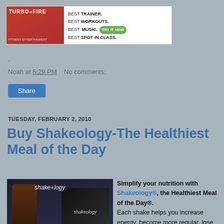[Figure (photo): TurboFire advertisement banner with logo, text: BEST TRAINER. BEST WORKOUTS. BEST MUSIC. BEST SPOT IN CLASS. TRY IT NOW button]
.
Noah at 5:29 PM    No comments:
Share
TUESDAY, FEBRUARY 2, 2010
Buy Shakeology-The Healthiest Meal of the Day
[Figure (photo): Shakeology product image showing a dark shake glass, vegetables, and black shakeology box with logo]
Simplify your nutrition with Shakeology®, the Healthiest Meal of the Day®. Each shake helps you increase energy, become more regular, lose weight, and